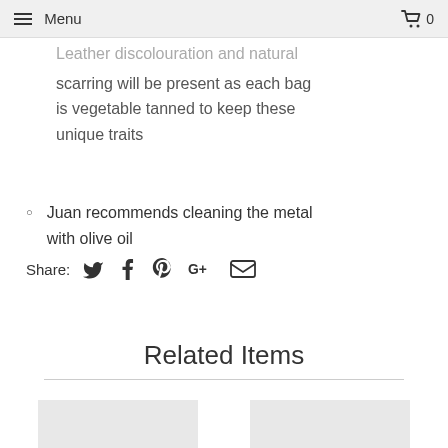Menu | 🛒 0
Leather discolouration and natural scarring will be present as each bag is vegetable tanned to keep these unique traits
Juan recommends cleaning the metal with olive oil
Share: [Twitter] [Facebook] [Pinterest] [Google+] [Email]
Related Items
[Figure (photo): Two partially visible product thumbnail images at the bottom of the page]